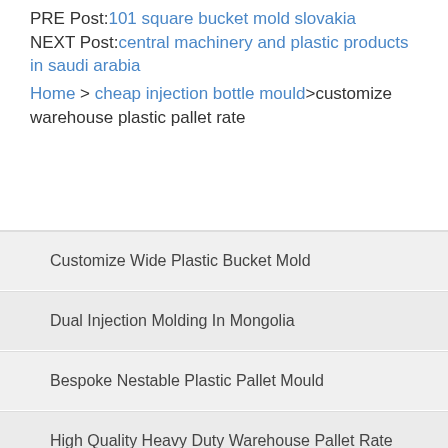PRE Post: 101 square bucket mold slovakia
NEXT Post: central machinery and plastic products in saudi arabia
Home > cheap injection bottle mould>customize warehouse plastic pallet rate
Customize Wide Plastic Bucket Mold
Dual Injection Molding In Mongolia
Bespoke Nestable Plastic Pallet Mould
High Quality Heavy Duty Warehouse Pallet Rate
Cheap Fruit Juice Bottle Mold Dealer
Ultra Food Grade Plastic Bucket With Lid Distribu...